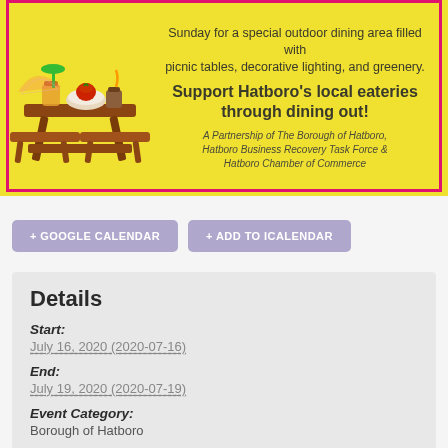[Figure (illustration): Yellow background outdoor dining event flyer with pink border, picnic table illustration with food and drinks on the left, text on the right: partial top text about Sunday outdoor dining area, 'Support Hatboro's local eateries through dining out!', and partnership attribution text in italics.]
+ GOOGLE CALENDAR
+ ADD TO ICALENDAR
Details
Start:
July 16, 2020 (2020-07-16)
End:
July 19, 2020 (2020-07-19)
Event Category:
Borough of Hatboro
Organizer